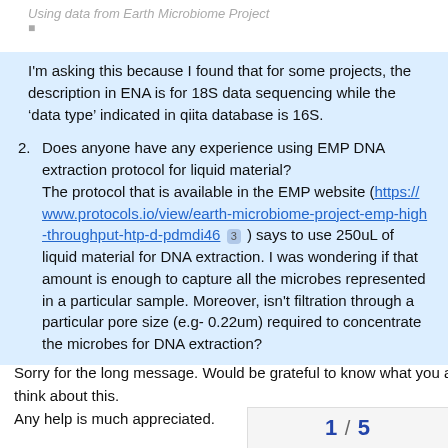Using data from Earth Microbiome Project
I'm asking this because I found that for some projects, the description in ENA is for 18S data sequencing while the ‘data type’ indicated in qiita database is 16S.
2. Does anyone have any experience using EMP DNA extraction protocol for liquid material? The protocol that is available in the EMP website (https://www.protocols.io/view/earth-microbiome-project-emp-high-throughput-htp-d-pdmdi46 3 ) says to use 250uL of liquid material for DNA extraction. I was wondering if that amount is enough to capture all the microbes represented in a particular sample. Moreover, isn't filtration through a particular pore size (e.g- 0.22um) required to concentrate the microbes for DNA extraction?
Sorry for the long message. Would be grateful to know what you all think about this.
Any help is much appreciated.
1 / 5